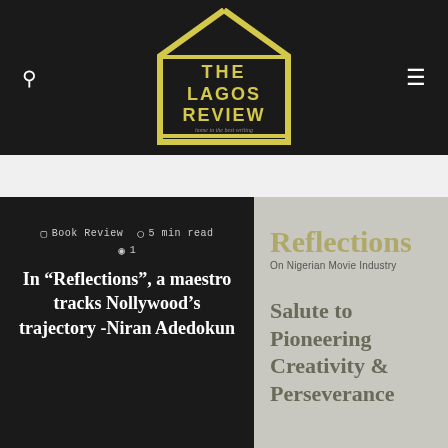The Lagos Review — home to the best writing
[Figure (logo): The Lagos Review logo: yellow house-shaped outline on dark background with yellow text 'THE LAGOS REVIEW' and tagline 'home to the best writing']
Book Review  5 min read  1
In “Reflections”, a maestro tracks Nollywood’s trajectory -Niran Adedokun
Reflections On Nigerian Movie Industry
Salute to Pioneering Creativity & Perseverance